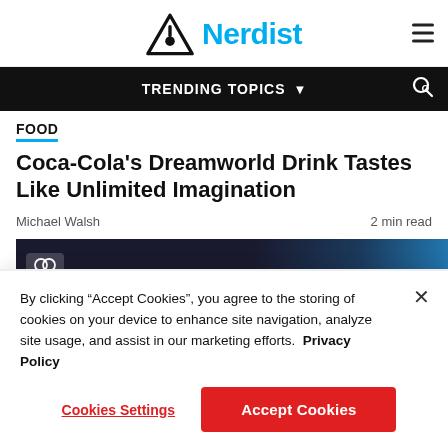Nerdist
TRENDING TOPICS
Coca-Cola’s Dreamworld Drink Tastes Like Unlimited Imagination
Michael Walsh   2 min read
[Figure (photo): Dark background article image with planet/space scene, glasses icon on left]
By clicking “Accept Cookies”, you agree to the storing of cookies on your device to enhance site navigation, analyze site usage, and assist in our marketing efforts.  Privacy Policy
Cookies Settings   Accept Cookies